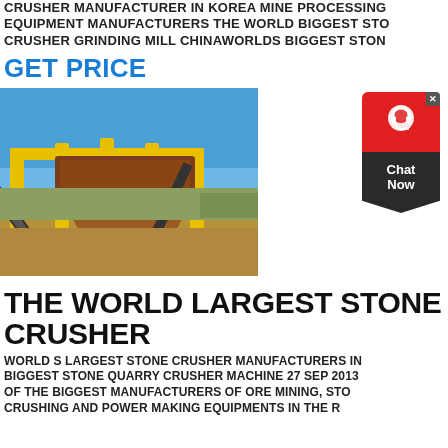CRUSHER MANUFACTURER IN KOREA MINE PROCESSING EQUIPMENT MANUFACTURERS THE WORLD BIGGEST STO CRUSHER GRINDING MILL CHINAWORLDS BIGGEST STON
GET PRICE
[Figure (photo): Yellow industrial stone crusher machine on a construction/quarry site with conveyor belts and blue sky background]
[Figure (other): Chat Now widget with red background, headset icon, dark chevron badge]
THE WORLD LARGEST STONE CRUSHER
WORLD S LARGEST STONE CRUSHER MANUFACTURERS IN BIGGEST STONE QUARRY CRUSHER MACHINE 27 SEP 2013 OF THE BIGGEST MANUFACTURERS OF ORE MINING, STO CRUSHING AND POWER MAKING EQUIPMENTS IN THE R